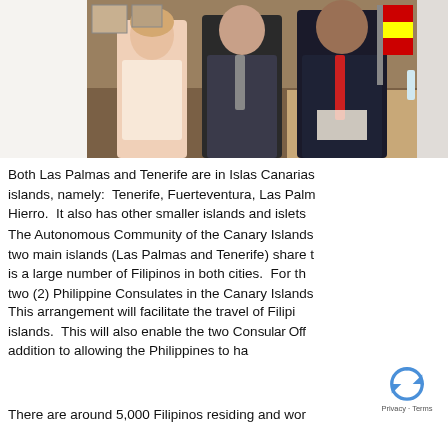[Figure (photo): Group photo of officials including a woman in white/pink top and two men in suits, one wearing a red tie, in an office setting with flags and wooden furniture. Image is partially cropped on the right.]
Both Las Palmas and Tenerife are in Islas Canarias islands, namely:  Tenerife, Fuerteventura, Las Palm Hierro.  It also has other smaller islands and islets
The Autonomous Community of the Canary Islands two main islands (Las Palmas and Tenerife) share t is a large number of Filipinos in both cities.  For th two (2) Philippine Consulates in the Canary Islands
This arrangement will facilitate the travel of Filipi islands.  This will also enable the two Consular Off addition to allowing the Philippines to ha
There are around 5,000 Filipinos residing and wor